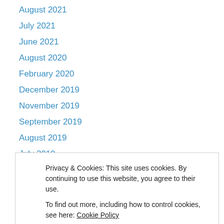August 2021
July 2021
June 2021
August 2020
February 2020
December 2019
November 2019
September 2019
August 2019
July 2019
June 2019
April 2019
March 2019
Privacy & Cookies: This site uses cookies. By continuing to use this website, you agree to their use.
To find out more, including how to control cookies, see here: Cookie Policy
June 2018